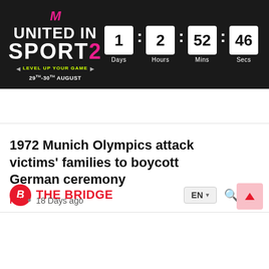[Figure (screenshot): United In Sports banner with countdown timer showing 1 day, 2 hours, 52 minutes, 46 seconds. Event dates 29th-30th August. Level Up Your Game tagline.]
The Bridge — EN — navigation bar with search and menu icons
1972 Munich Olympics attack victims' families to boycott German ceremony
PTI • 18 Days ago
[Figure (screenshot): 1XBET advertisement banner — TRIPLE T20 EXPLOSION — PLACE A BET button, with cricket player graphic on blue background]